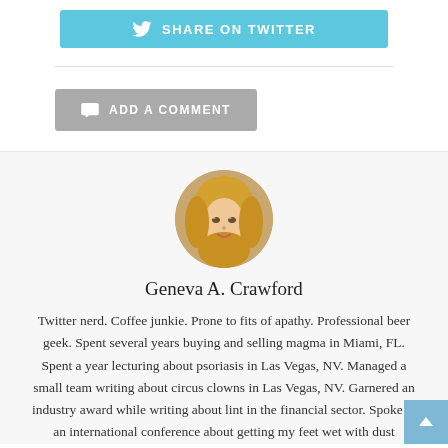[Figure (other): Share on Twitter button with Twitter bird icon, light blue background]
[Figure (other): Add a Comment button with speech bubble icon, gray background]
[Figure (photo): Circular portrait photo of Geneva A. Crawford, a blonde woman]
Geneva A. Crawford
Twitter nerd. Coffee junkie. Prone to fits of apathy. Professional beer geek. Spent several years buying and selling magma in Miami, FL. Spent a year lecturing about psoriasis in Las Vegas, NV. Managed a small team writing about circus clowns in Las Vegas, NV. Garnered an industry award while writing about lint in the financial sector. Spoke at an international conference about getting my feet wet with dust